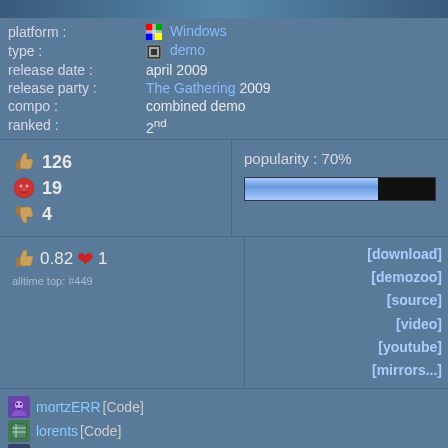[Figure (screenshot): Top banner image strip (partially visible screenshot)]
platform : Windows
type : demo
release date : april 2009
release party : The Gathering 2009
compo : combined demo
ranked : 2nd
126 thumbs up, 19 pig, 4 thumbs down
popularity : 70%
0.82 heart 1
alltime top: #449
[download]
[demozoo]
[source]
[video]
[youtube]
[mirrors...]
mortzERR [Code]
lorents [Code]
irvin [music]
added on the 2009-04-12 09:33:11 by magic
popularity helper